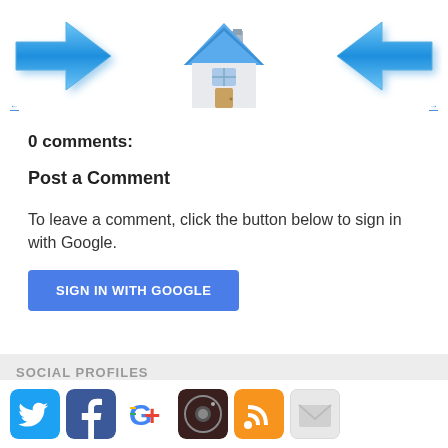[Figure (illustration): Navigation bar with blue left arrow, house icon, and blue right arrow, with small nav links below each arrow]
0 comments:
Post a Comment
To leave a comment, click the button below to sign in with Google.
[Figure (other): Blue SIGN IN WITH GOOGLE button]
SOCIAL PROFILES
[Figure (other): Row of social media icons: Twitter, Facebook, Google+, Instagram, RSS, Email]